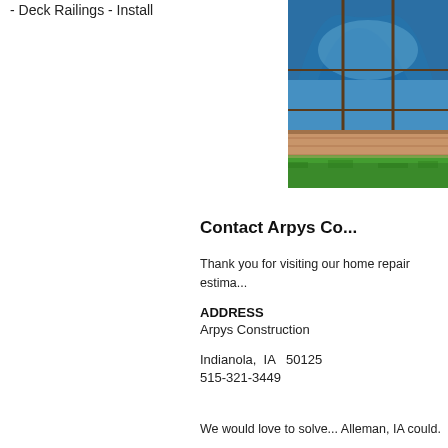- Deck Railings - Install
[Figure (photo): Photo of a structure with an arched blue glass/polycarbonate enclosure panel with a wooden base, sitting on grass. The enclosure appears to be a pool or patio cover with curved transparent blue panels framed in dark metal.]
Contact Arpys Co...
Thank you for visiting our home repair estima...
ADDRESS
Arpys Construction

Indianola,  IA   50125
515-321-3449
We would love to solve... Alleman, IA could.